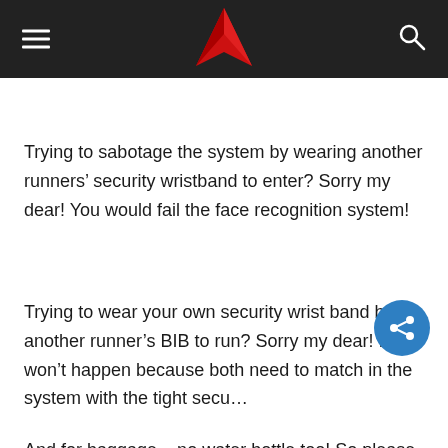Navigation bar with hamburger menu, logo, and search icon
Trying to sabotage the system by wearing another runners’ security wristband to enter? Sorry my dear! You would fail the face recognition system!
Trying to wear your own security wrist band but another runner’s BIB to run? Sorry my dear! It won’t happen because both need to match in the system with the tight secu…
And for baggage – no water bottle too! So please take note